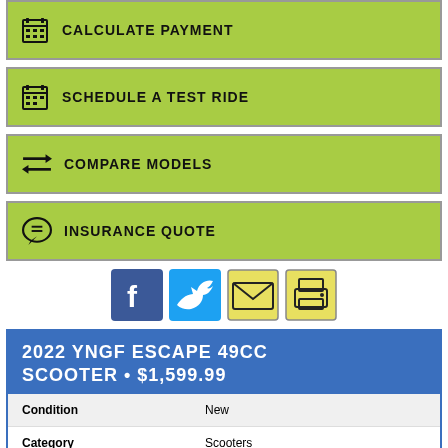CALCULATE PAYMENT
SCHEDULE A TEST RIDE
COMPARE MODELS
INSURANCE QUOTE
[Figure (infographic): Social share icons: Facebook (blue), Twitter (blue), Email (outlined), Print (outlined)]
2022 YNGF ESCAPE 49CC SCOOTER • $1,599.99
| Condition | New |
| Category | Scooters |
| Model Type | SCOOTER |